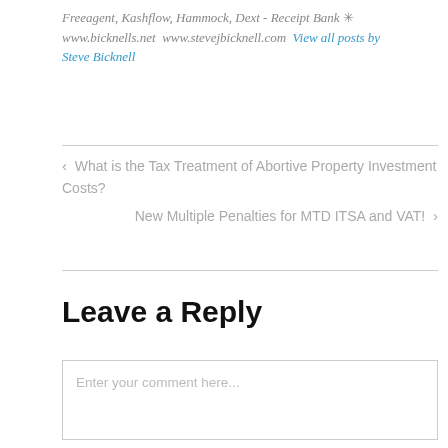Freeagent, Kashflow, Hammock, Dext - Receipt Bank ✳ www.bicknells.net www.stevejbicknell.com View all posts by Steve Bicknell
< What is the Tax Treatment of Abortive Property Investment Costs?
New Multiple Penalties for MTD ITSA and VAT! >
Leave a Reply
Enter your comment here...